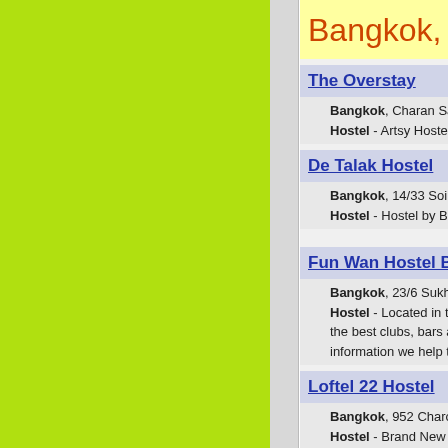Bangkok, Thailand
The Overstay
Bangkok, Charan Sanit Wong Soi 40
Hostel - Artsy Hostel with live music and party, movie s
De Talak Hostel
Bangkok, 14/33 Soi Phaisingtoh, Klongtei,
Hostel - Hostel by Bangkok Metho(MRT)
Fun Wan Hostel Bangkok
Bangkok, 23/6 Sukhumvit Soi 11
Hostel - Located in the heart of the city on Sukhumvit the best clubs, bars and restaurants in Bangkok. With th information we help to make the most of your
Loftel 22 Hostel
Bangkok, 952 Charoenkrung22, Talad Noi, Charoen
Hostel - Brand New Budget Hostel in the center of Ba China Town-Yaowaraj, Hua Lam Pong)
Marrakech, Morocco
Hostel Riad Mama Marrakech
Marrakech, Derb Raouia # 18, Rmila Bab Doukala